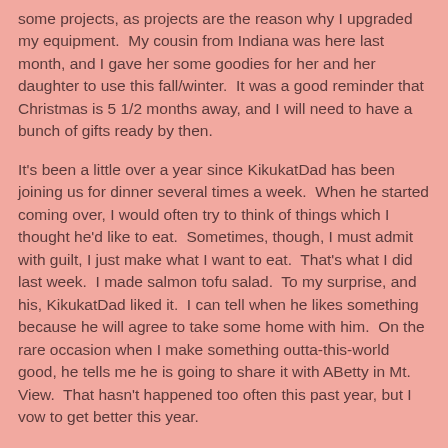some projects, as projects are the reason why I upgraded my equipment.  My cousin from Indiana was here last month, and I gave her some goodies for her and her daughter to use this fall/winter.  It was a good reminder that Christmas is 5 1/2 months away, and I will need to have a bunch of gifts ready by then.
It's been a little over a year since KikukatDad has been joining us for dinner several times a week.  When he started coming over, I would often try to think of things which I thought he'd like to eat.  Sometimes, though, I must admit with guilt, I just make what I want to eat.  That's what I did last week.  I made salmon tofu salad.  To my surprise, and his, KikukatDad liked it.  I can tell when he likes something because he will agree to take some home with him.  On the rare occasion when I make something outta-this-world good, he tells me he is going to share it with ABetty in Mt. View.  That hasn't happened too often this past year, but I vow to get better this year.
Happy early Independence Day!  I hope to test out a few more recipes and get farther on some crafting projects.  The